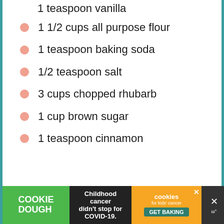1 teaspoon vanilla
1 1/2 cups all purpose flour
1 teaspoon baking soda
1/2 teaspoon salt
3 cups chopped rhubarb
1 cup brown sugar
1 teaspoon cinnamon
[Figure (infographic): Advertisement banner at bottom: Cookie Dough green logo on left, 'Childhood cancer didn't stop for COVID-19.' text in middle on dark background, cookies for kids cancer orange logo on right with GET BAKING button]